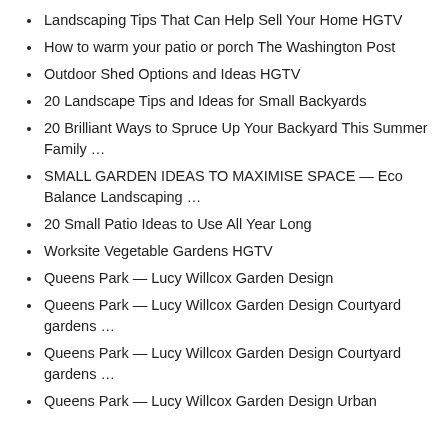Landscaping Tips That Can Help Sell Your Home HGTV
How to warm your patio or porch The Washington Post
Outdoor Shed Options and Ideas HGTV
20 Landscape Tips and Ideas for Small Backyards
20 Brilliant Ways to Spruce Up Your Backyard This Summer Family …
SMALL GARDEN IDEAS TO MAXIMISE SPACE — Eco Balance Landscaping …
20 Small Patio Ideas to Use All Year Long
Worksite Vegetable Gardens HGTV
Queens Park — Lucy Willcox Garden Design
Queens Park — Lucy Willcox Garden Design Courtyard gardens …
Queens Park — Lucy Willcox Garden Design Courtyard gardens …
Queens Park — Lucy Willcox Garden Design Urban